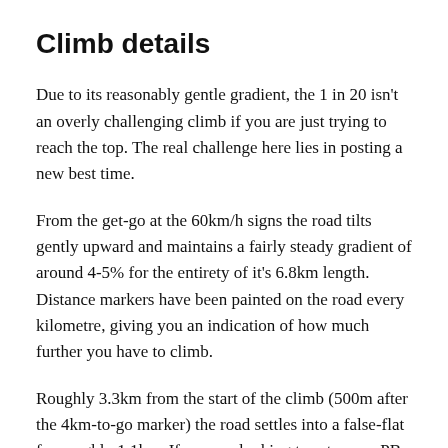Climb details
Due to its reasonably gentle gradient, the 1 in 20 isn't an overly challenging climb if you are just trying to reach the top. The real challenge here lies in posting a new best time.
From the get-go at the 60km/h signs the road tilts gently upward and maintains a fairly steady gradient of around 4-5% for the entirety of it's 6.8km length. Distance markers have been painted on the road every kilometre, giving you an indication of how much further you have to climb.
Roughly 3.3km from the start of the climb (500m after the 4km-to-go marker) the road settles into a false-flat for roughly 1.1km. If you are looking to set a new PB up here you can't afford to sit up and rest on this flat section and speeds in the realm of 40km/h are set along here by